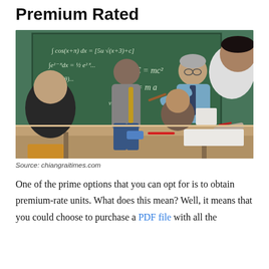Premium Rated
[Figure (photo): Classroom scene with students seated at desks and a teacher pointing at a chalkboard covered in mathematical equations (integrals, E=mc², F=ma). Students are listening and taking notes.]
Source: chiangraitimes.com
One of the prime options that you can opt for is to obtain premium-rate units. What does this mean? Well, it means that you could choose to purchase a PDF file with all the